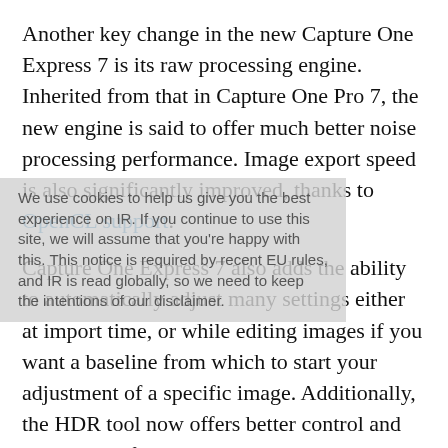Another key change in the new Capture One Express 7 is its raw processing engine. Inherited from that in Capture One Pro 7, the new engine is said to offer much better noise processing performance. Image export speed is also significantly improved, thanks to OpenCL support.

Capture One Express 7 also adds the ability to automatically adjust many settings either at import time, or while editing images if you want a baseline from which to start your adjustment of a specific image. Additionally, the HDR tool now offers better control and separation of shadow and hightlight detail, and the Clarity tool offers two new adjustment methods. The neutral adjustment gives, as you'd expect, a more neutral look. The punch adjustment, meanwhile, not only boosts midtone contrast, but also saturation. The original adjustment method from Capture
We use cookies to help us give you the best experience on IR. If you continue to use this site, we will assume that you're happy with this. This notice is required by recent EU rules, and IR is read globally, so we need to keep the intentions of our disclaimer.